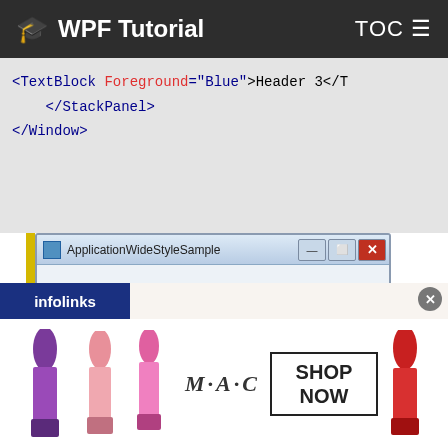WPF Tutorial  TOC
[Figure (screenshot): Code snippet showing XML: <TextBlock Foreground="Blue">Header 3</TextBlock>, </StackPanel>, </Window>]
[Figure (screenshot): Windows application screenshot titled ApplicationWideStyleSample showing Header 1, Header 2, Header 3 (blue) in a StackPanel WPF window]
[Figure (screenshot): MAC cosmetics advertisement banner showing lipsticks with SHOP NOW button and infolinks label]